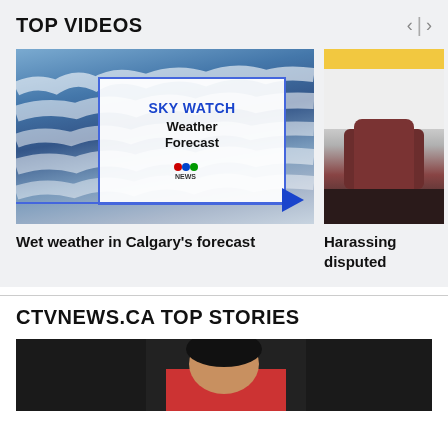TOP VIDEOS
[Figure (screenshot): Video thumbnail showing sky/clouds with SKY WATCH Weather Forecast overlay and CTV News Calgary logo, with play button]
Wet weather in Calgary's forecast
[Figure (photo): Partial photo of person holding a smartphone]
Harassing disputed
CTVNEWS.CA TOP STORIES
[Figure (photo): Partial photo of a person at bottom of page]